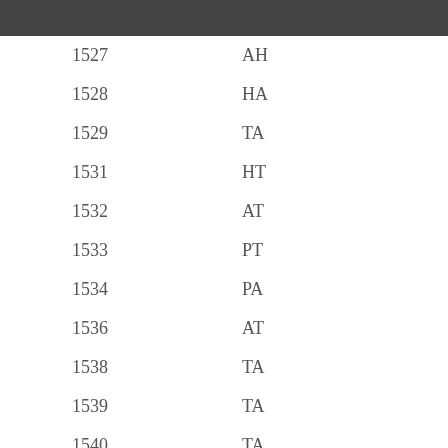| 1527 | AH |
| 1528 | HA |
| 1529 | TA |
| 1531 | HT |
| 1532 | AT |
| 1533 | PT |
| 1534 | PA |
| 1536 | AT |
| 1538 | TA |
| 1539 | TA |
| 1540 | TA |